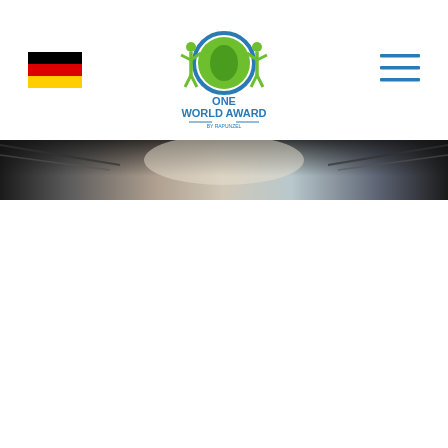[Figure (logo): One World Award by Rapunzel logo: green figures holding a globe, with blue circular element and text ONE WORLD AWARD BY RAPUNZEL]
[Figure (photo): German flag icon (black, red, gold horizontal stripes)]
[Figure (other): Hamburger menu icon with three horizontal blue lines]
[Figure (photo): Wide banner photo showing an interior ceiling structure with metal trusses and soft lighting, dark at edges]